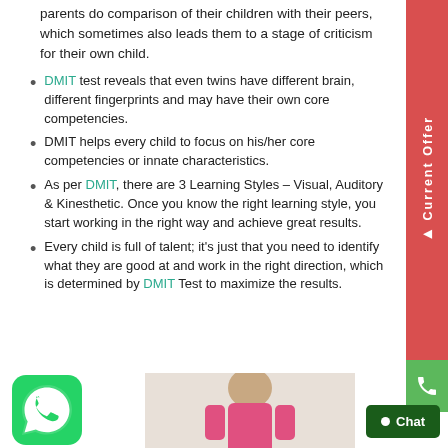parents do comparison of their children with their peers, which sometimes also leads them to a stage of criticism for their own child.
DMIT test reveals that even twins have different brain, different fingerprints and may have their own core competencies.
DMIT helps every child to focus on his/her core competencies or innate characteristics.
As per DMIT, there are 3 Learning Styles – Visual, Auditory & Kinesthetic. Once you know the right learning style, you start working in the right way and achieve great results.
Every child is full of talent; it's just that you need to identify what they are good at and work in the right direction, which is determined by DMIT Test to maximize the results.
[Figure (logo): WhatsApp icon - green circle with phone/chat symbol]
[Figure (photo): Child/student photo at bottom of page]
[Figure (other): Current Offer red sidebar tab on right side]
[Figure (other): Green phone call button on right side]
[Figure (other): Dark green Chat button at bottom right]